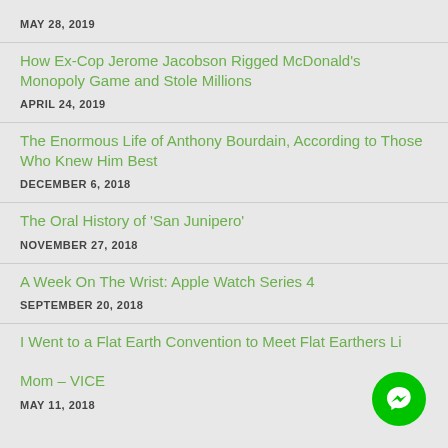MAY 28, 2019
How Ex-Cop Jerome Jacobson Rigged McDonald's Monopoly Game and Stole Millions
APRIL 24, 2019
The Enormous Life of Anthony Bourdain, According to Those Who Knew Him Best
DECEMBER 6, 2018
The Oral History of 'San Junipero'
NOVEMBER 27, 2018
A Week On The Wrist: Apple Watch Series 4
SEPTEMBER 20, 2018
I Went to a Flat Earth Convention to Meet Flat Earthers Like My Mom – VICE
MAY 11, 2018